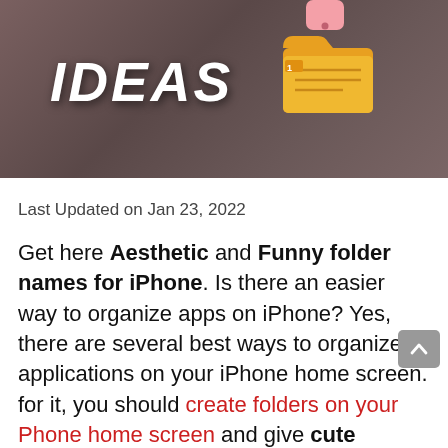[Figure (illustration): Hero image with dark brownish-red background showing the word IDEAS in bold white italic text on the left and a folder emoji icon on the right, with a pink phone icon at top right]
Last Updated on Jan 23, 2022
Get here Aesthetic and Funny folder names for iPhone. Is there an easier way to organize apps on iPhone? Yes, there are several best ways to organize applications on your iPhone home screen. for it, you should create folders on your Phone home screen and give cute folders names to quickly touch. in this article, I'll share with you good folder name ideas for your smartphone.